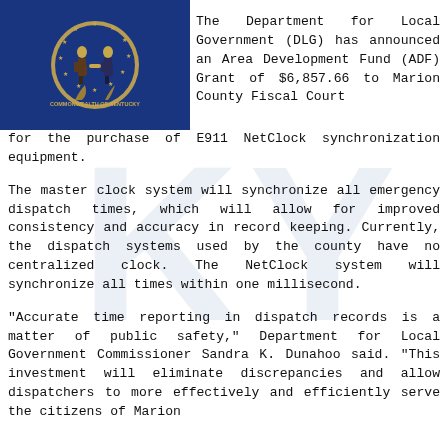[Figure (photo): Kentucky state flag — blue background with state seal and text]
The Department for Local Government (DLG) has announced an Area Development Fund (ADF) Grant of $6,857.66 to Marion County Fiscal Court for the purchase of E911 NetClock synchronization equipment.
The master clock system will synchronize all emergency dispatch times, which will allow for improved consistency and accuracy in record keeping. Currently, the dispatch systems used by the county have no centralized clock. The NetClock system will synchronize all times within one millisecond.
“Accurate time reporting in dispatch records is a matter of public safety,” Department for Local Government Commissioner Sandra K. Dunahoo said. “This investment will eliminate discrepancies and allow dispatchers to more effectively and efficiently serve the citizens of Marion